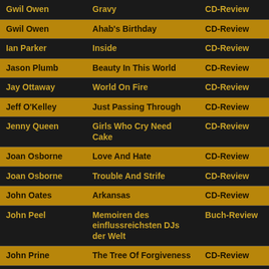| Artist | Album/Title | Type |
| --- | --- | --- |
| Gwil Owen | Gravy | CD-Review |
| Gwil Owen | Ahab's Birthday | CD-Review |
| Ian Parker | Inside | CD-Review |
| Jason Plumb | Beauty In This World | CD-Review |
| Jay Ottaway | World On Fire | CD-Review |
| Jeff O'Kelley | Just Passing Through | CD-Review |
| Jenny Queen | Girls Who Cry Need Cake | CD-Review |
| Joan Osborne | Love And Hate | CD-Review |
| Joan Osborne | Trouble And Strife | CD-Review |
| John Oates | Arkansas | CD-Review |
| John Peel | Memoiren des einflussreichsten DJs der Welt | Buch-Review |
| John Prine | The Tree Of Forgiveness | CD-Review |
| Jon Oliva's Pain | Festival | CD-Review |